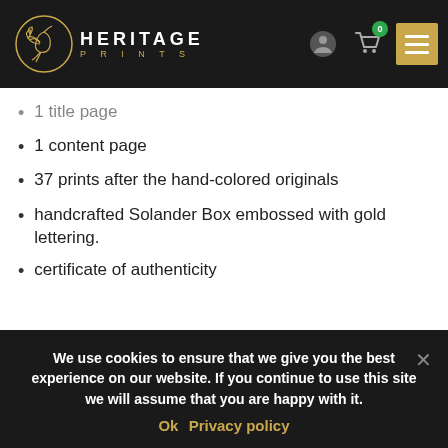HERITAGE PRINTS
1 title page
1 content page
37 prints after the hand-colored originals
handcrafted Solander Box embossed with gold lettering.
certificate of authenticity
We use cookies to ensure that we give you the best experience on our website. If you continue to use this site we will assume that you are happy with it. Ok  Privacy policy